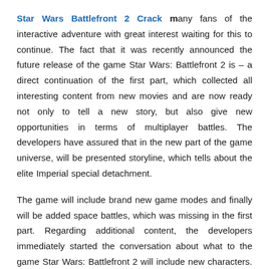Star Wars Battlefront 2 Crack many fans of the interactive adventure with great interest waiting for this to continue. The fact that it was recently announced the future release of the game Star Wars: Battlefront 2 is – a direct continuation of the first part, which collected all interesting content from new movies and are now ready not only to tell a new story, but also give new opportunities in terms of multiplayer battles. The developers have assured that in the new part of the game universe, will be presented storyline, which tells about the elite Imperial special detachment.
The game will include brand new game modes and finally will be added space battles, which was missing in the first part. Regarding additional content, the developers immediately started the conversation about what to the game Star Wars: Battlefront 2 will include new characters. The team is working closely with a group of writers Lucasfilm, so a new set of heroes will be guaranteed. This time the main character will be Eden Version in charge of the